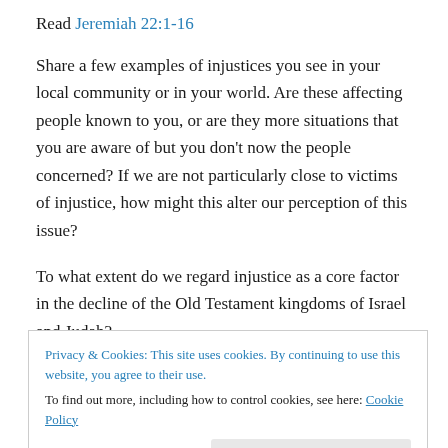Read Jeremiah 22:1-16
Share a few examples of injustices you see in your local community or in your world. Are these affecting people known to you, or are they more situations that you are aware of but you don't now the people concerned? If we are not particularly close to victims of injustice, how might this alter our perception of this issue?
To what extent do we regard injustice as a core factor in the decline of the Old Testament kingdoms of Israel and Judah?
Privacy & Cookies: This site uses cookies. By continuing to use this website, you agree to their use.
To find out more, including how to control cookies, see here: Cookie Policy
people. What does this tell us about God's heart for